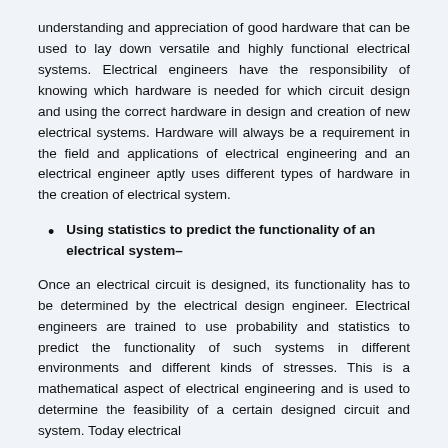understanding and appreciation of good hardware that can be used to lay down versatile and highly functional electrical systems. Electrical engineers have the responsibility of knowing which hardware is needed for which circuit design and using the correct hardware in design and creation of new electrical systems. Hardware will always be a requirement in the field and applications of electrical engineering and an electrical engineer aptly uses different types of hardware in the creation of electrical system.
Using statistics to predict the functionality of an electrical system–
Once an electrical circuit is designed, its functionality has to be determined by the electrical design engineer. Electrical engineers are trained to use probability and statistics to predict the functionality of such systems in different environments and different kinds of stresses. This is a mathematical aspect of electrical engineering and is used to determine the feasibility of a certain designed circuit and system. Today electrical